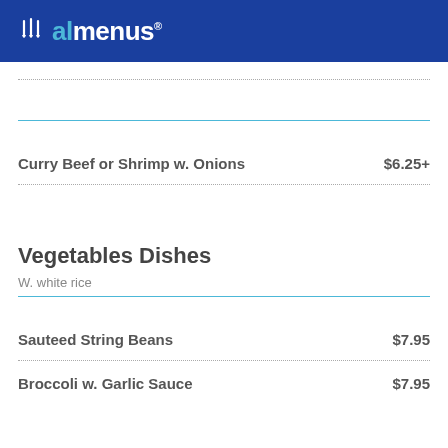allmenus
Curry Beef or Shrimp w. Onions  $6.25+
Vegetables Dishes
W. white rice
Sauteed String Beans  $7.95
Broccoli w. Garlic Sauce  $7.95